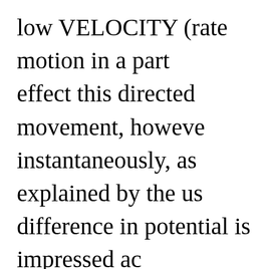low VELOCITY (rate motion in a part effect this directed movement, however instantaneously, as explained by the us difference in potential is impressed ac positive terminal the battery attracts el Point a now has a deficiency electrons are attracted from point B to point A. developed an electron deficiency, ther the